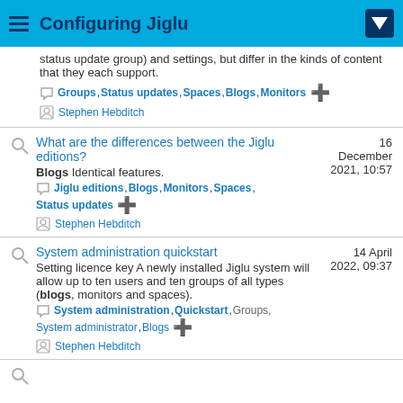Configuring Jiglu
status update group) and settings, but differ in the kinds of content that they each support.
Groups, Status updates, Spaces, Blogs, Monitors [+]
Stephen Hebditch
What are the differences between the Jiglu editions?
Blogs Identical features.
Jiglu editions, Blogs, Monitors, Spaces, Status updates [+]
Stephen Hebditch
System administration quickstart
Setting licence key A newly installed Jiglu system will allow up to ten users and ten groups of all types (blogs, monitors and spaces).
System administration, Quickstart, Groups, System administrator, Blogs [+]
Stephen Hebditch